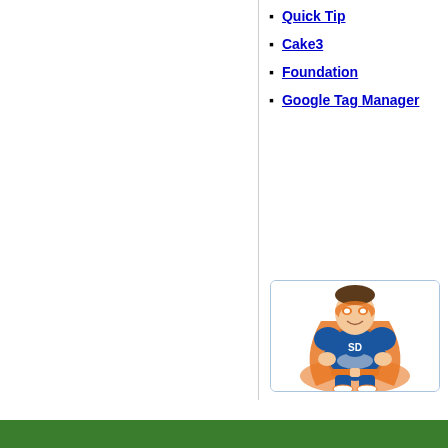Quick Tip
Cake3
Foundation
Google Tag Manager
[Figure (illustration): Cartoon superhero mascot in blue suit with orange cape and 'SD' logo on chest, arms crossed, standing confidently inside a rounded rectangle card]